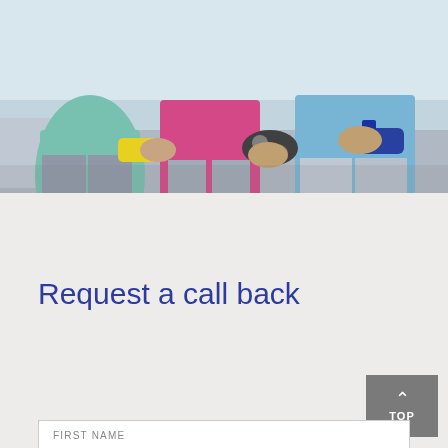[Figure (photo): Three older adults sitting on a sofa holding video game controllers, playing together. One person on left wears a light teal top, center person wears a pink top, right person wears a light blue polo shirt. The image is cropped to show from torso down, with controllers prominently visible.]
Request a call back
FIRST NAME